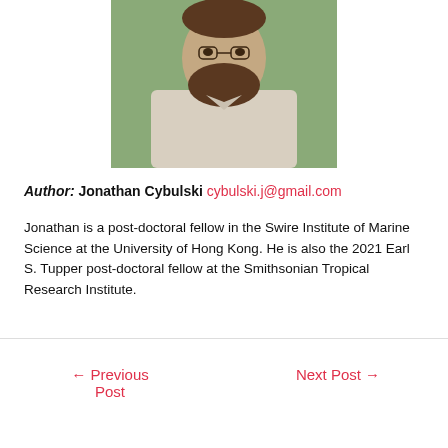[Figure (photo): Portrait photo of Jonathan Cybulski, a bearded man wearing a light-colored shirt, with greenery in the background]
Author: Jonathan Cybulski cybulski.j@gmail.com
Jonathan is a post-doctoral fellow in the Swire Institute of Marine Science at the University of Hong Kong. He is also the 2021 Earl S. Tupper post-doctoral fellow at the Smithsonian Tropical Research Institute.
← Previous Post   Next Post →